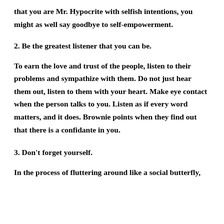that you are Mr. Hypocrite with selfish intentions, you might as well say goodbye to self-empowerment.
2. Be the greatest listener that you can be.
To earn the love and trust of the people, listen to their problems and sympathize with them. Do not just hear them out, listen to them with your heart. Make eye contact when the person talks to you. Listen as if every word matters, and it does. Brownie points when they find out that there is a confidante in you.
3. Don't forget yourself.
In the process of fluttering around like a social butterfly,